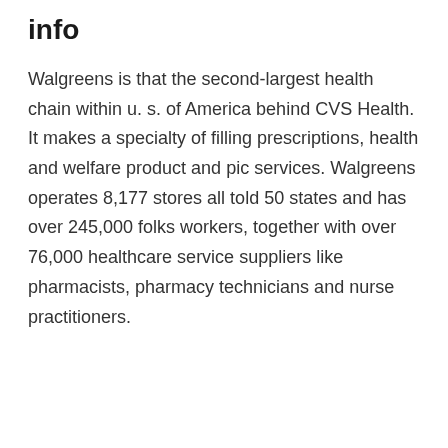Walgreens Headquarters info
Walgreens is that the second-largest health chain within u. s. of America behind CVS Health. It makes a specialty of filling prescriptions, health and welfare product and pic services. Walgreens operates 8,177 stores all told 50 states and has over 245,000 folks workers, together with over 76,000 healthcare service suppliers like pharmacists, pharmacy technicians and nurse practitioners.